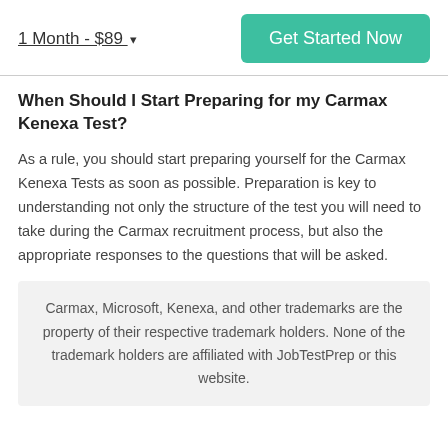1 Month - $89 ▾
Get Started Now
When Should I Start Preparing for my Carmax Kenexa Test?
As a rule, you should start preparing yourself for the Carmax Kenexa Tests as soon as possible. Preparation is key to understanding not only the structure of the test you will need to take during the Carmax recruitment process, but also the appropriate responses to the questions that will be asked.
Carmax, Microsoft, Kenexa, and other trademarks are the property of their respective trademark holders. None of the trademark holders are affiliated with JobTestPrep or this website.